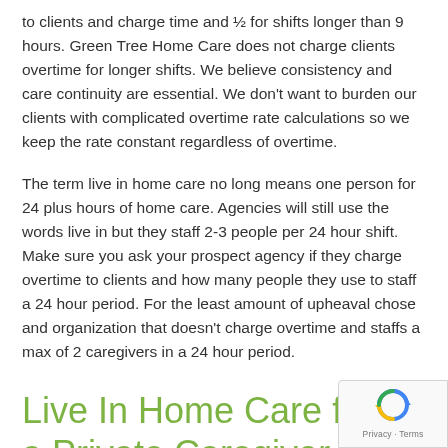to clients and charge time and ½ for shifts longer than 9 hours. Green Tree Home Care does not charge clients overtime for longer shifts. We believe consistency and care continuity are essential. We don't want to burden our clients with complicated overtime rate calculations so we keep the rate constant regardless of overtime.
The term live in home care no long means one person for 24 plus hours of home care. Agencies will still use the words live in but they staff 2-3 people per 24 hour shift. Make sure you ask your prospect agency if they charge overtime to clients and how many people they use to staff a 24 hour period. For the least amount of upheaval chose and organization that doesn't charge overtime and staffs a max of 2 caregivers in a 24 hour period.
Live In Home Care from a Private Caregiver or Domestic Referral Agency